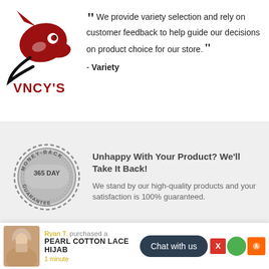[Figure (logo): VNCY'S brand logo — red stylized fox/fish figure with black tail curve and red text 'VNCY'S' below]
“ We provide variety selection and rely on customer feedback to help guide our decisions on product choice for our store. ” - Variety
[Figure (illustration): Circular gray badge/stamp reading MONEY-BACK 365 DAY GUARANTEE]
Unhappy With Your Product? We'll Take It Back!
We stand by our high-quality products and your satisfaction is 100% guaranteed.
Secure Checkout. Copyright © 2018, VNCY'S
We use encrypted SSL security to ensure that your credit card information is 100% protected.
Ryan T. purchased a
PEARL COTTON LACE HIJAB
1 minute